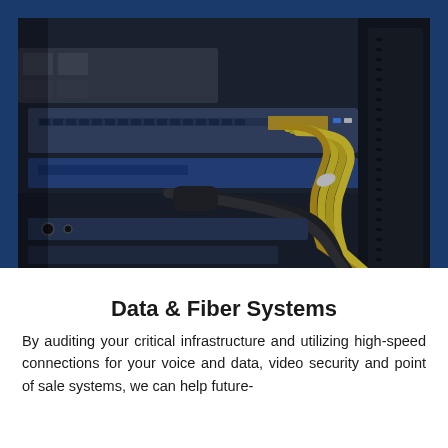[Figure (photo): Close-up photograph of network equipment in a server rack. Yellow ethernet cables bundled together connect into the back of a network switch. Black power cables are also visible. The equipment includes blue-colored network switches and routers mounted in a rack. The image has a dark, professional tone.]
Data & Fiber Systems
By auditing your critical infrastructure and utilizing high-speed connections for your voice and data, video security and point of sale systems, we can help future-